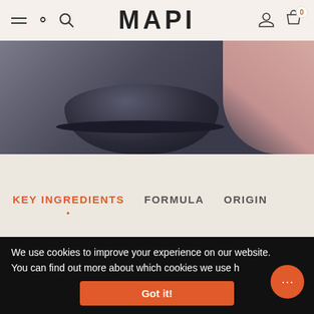MAPI
[Figure (photo): Close-up photo of a dark stone mortar/bowl with a hand touching it in the background]
KEY INGREDIENTS   FORMULA   ORIGIN
VITALITY SYNERGISTIC DUO + MOOD BOOST (SUGAR FREE)
$120.00
We use cookies to improve your experience on our website. You can find out more about which cookies we use h
Got it!